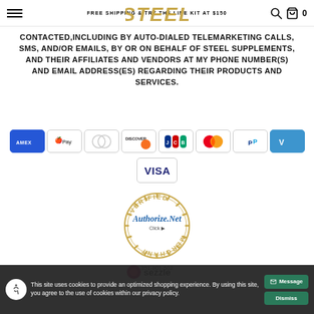FREE SHIPPING & TRY THE LINE KIT AT $150
[Figure (logo): STEEL brand logo in gold/metallic lettering]
CONTACTED,INCLUDING BY AUTO-DIALED TELEMARKETING CALLS, SMS, AND/OR EMAILS, BY OR ON BEHALF OF STEEL SUPPLEMENTS, AND THEIR AFFILIATES AND VENDORS AT MY PHONE NUMBER(S) AND EMAIL ADDRESS(ES) REGARDING THEIR PRODUCTS AND SERVICES.
[Figure (infographic): Payment icons: Amex, Apple Pay, Diners Club, Discover, JCB, Mastercard, PayPal, Venmo, Visa]
[Figure (infographic): Authorize.Net Verified Merchant seal with number 351-901-502]
[Figure (logo): Sezzle payment option logo]
This site uses cookies to provide an optimized shopping experience. By using this site, you agree to the use of cookies within our privacy policy.